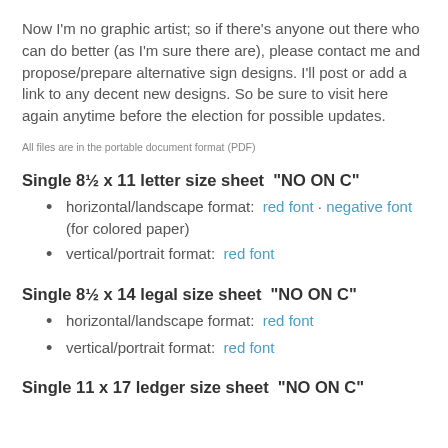Now I'm no graphic artist; so if there's anyone out there who can do better (as I'm sure there are), please contact me and propose/prepare alternative sign designs. I'll post or add a link to any decent new designs. So be sure to visit here again anytime before the election for possible updates.
All files are in the portable document format (PDF)
Single 8½ x 11 letter size sheet  "NO ON C"
horizontal/landscape format:  red font · negative font (for colored paper)
vertical/portrait format:  red font
Single 8½ x 14 legal size sheet  "NO ON C"
horizontal/landscape format:  red font
vertical/portrait format:  red font
Single 11 x 17 ledger size sheet  "NO ON C"